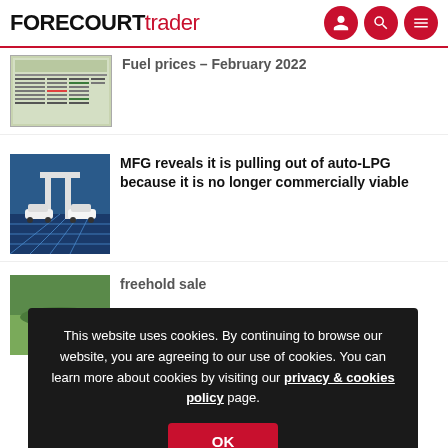FORECOURT trader
Fuel prices – February 2022
[Figure (screenshot): Thumbnail of a fuel prices table document]
MFG reveals it is pulling out of auto-LPG because it is no longer commercially viable
[Figure (photo): Photo of electric vehicle charging station with cars at blue-lit forecourt]
This website uses cookies. By continuing to browse our website, you are agreeing to our use of cookies. You can learn more about cookies by visiting our privacy & cookies policy page.
OK
freehold sale
[Figure (photo): Aerial photo of a forecourt/petrol station]